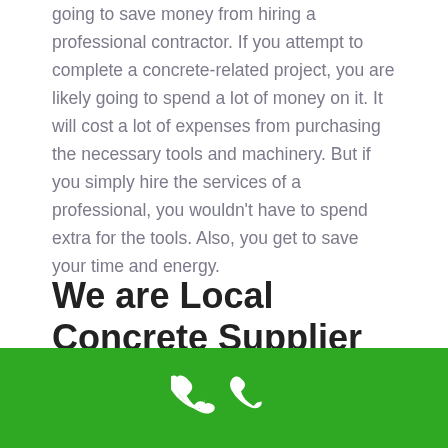going to save money from hiring a professional contractor. If you attempt to complete a concrete-related project, you are likely going to spend a lot of money on it. It will cost a lot of expenses from purchasing the necessary tools and machinery. But if you simply hire the services of a professional, you wouldn't have to spend extra for the tools. Also, you get to save your time and energy.
We are Local Concrete Supplier in Mullica Hill, NJ (855) 908-1496
[Figure (other): Green banner bar at the bottom of the page with a white phone handset icon centered on it]